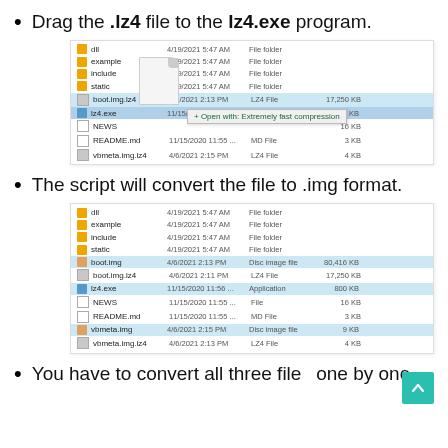Drag the .lz4 file to the lz4.exe program.
[Figure (screenshot): Windows Explorer file list showing drag of boot.img.lz4 to lz4.exe with floating file icon and context menu showing '+ Open with: Extremely fast compression']
The script will convert the file to .img format.
[Figure (screenshot): Windows Explorer file list showing results after conversion: boot.img, boot.img.lz4, lz4.exe, NEWS, README.md, vbmeta.img (selected), vbmeta.img.lz4]
You have to convert all three files one by one.